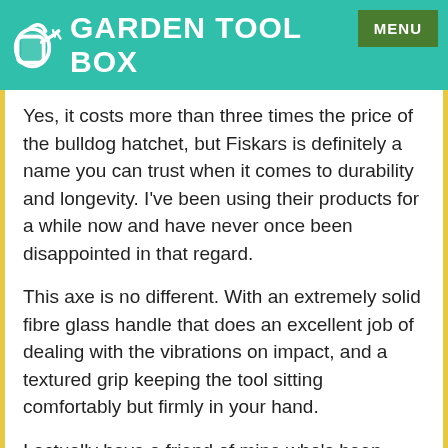GARDEN TOOL BOX
Yes, it costs more than three times the price of the bulldog hatchet, but Fiskars is definitely a name you can trust when it comes to durability and longevity. I've been using their products for a while now and have never once been disappointed in that regard.
This axe is no different. With an extremely solid fibre glass handle that does an excellent job of dealing with the vibrations on impact, and a textured grip keeping the tool sitting comfortably but firmly in your hand.
I actually have a friend of mine who's been raving about his X7 for ages, and he really puts it through its paces. Apart from scratched up, the axe still looks decent even after all the abuse it has suffered at his clumsy hands. Just look at the photo below so